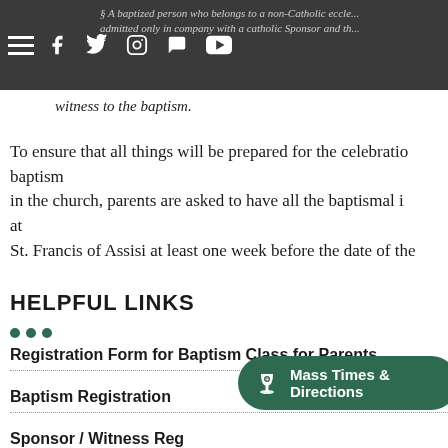§ A baptized person who belongs to a non-Catholic ecclesiastical community may be admitted only in company with a catholic Sponsor and the witness to the baptism.
witness to the baptism.
To ensure that all things will be prepared for the celebration baptism in the church, parents are asked to have all the baptismal in at St. Francis of Assisi at least one week before the date of the
HELPFUL LINKS
Registration Form for Baptism Class for Parents
Baptism Registration
Sponsor / Witness Reg
Parish Registration